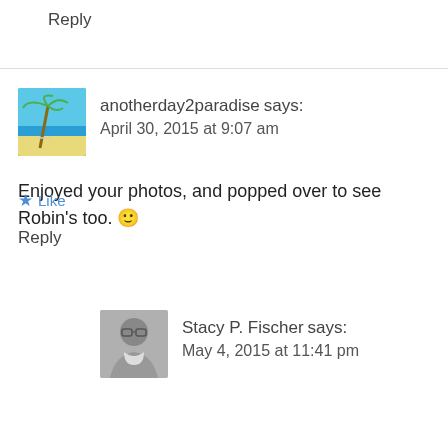Reply
anotherday2paradise says:
April 30, 2015 at 9:07 am
Enjoyed your photos, and popped over to see Robin's too. 🙂
★ Like
Reply
Stacy P. Fischer says:
May 4, 2015 at 11:41 pm